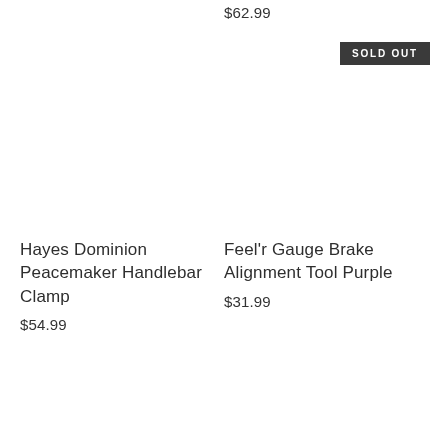$62.99
SOLD OUT
Hayes Dominion Peacemaker Handlebar Clamp
$54.99
Feel'r Gauge Brake Alignment Tool Purple
$31.99